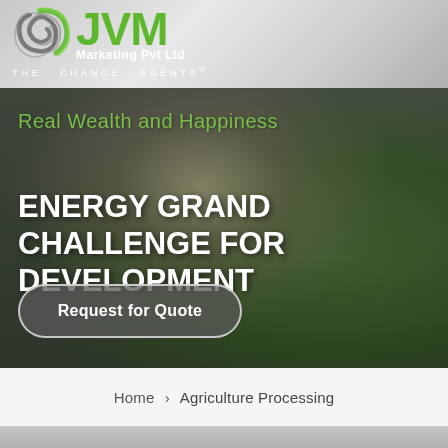[Figure (logo): JVM Marketing Pvt Ltd logo with swirl icon and green text, with tagline THE CHANGE AGENTS]
[Figure (photo): Hero section with blurred background image of a person viewed from behind on a green field, overlaid with semi-transparent dark tint]
Real Wealth and Happiness
ENERGY GRAND CHALLENGE FOR DEVELOPMENT
Request for Quote
Home > Agriculture Processing